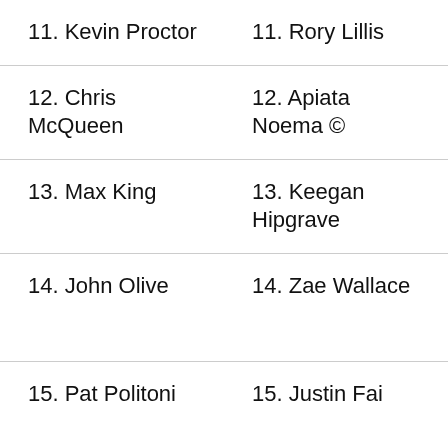| 11. Kevin Proctor | 11. Rory Lillis |
| 12. Chris McQueen | 12. Apiata Noema © |
| 13. Max King | 13. Keegan Hipgrave |
| 14. John Olive | 14. Zae Wallace |
| 15. Pat Politoni | 15. Justin Fai |